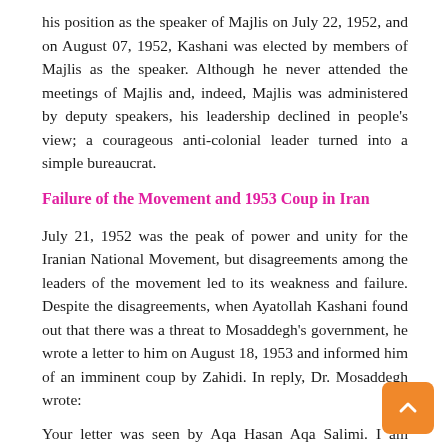his position as the speaker of Majlis on July 22, 1952, and on August 07, 1952, Kashani was elected by members of Majlis as the speaker. Although he never attended the meetings of Majlis and, indeed, Majlis was administered by deputy speakers, his leadership declined in people's view; a courageous anti-colonial leader turned into a simple bureaucrat.
Failure of the Movement and 1953 Coup in Iran
July 21, 1952 was the peak of power and unity for the Iranian National Movement, but disagreements among the leaders of the movement led to its weakness and failure. Despite the disagreements, when Ayatollah Kashani found out that there was a threat to Mosaddegh's government, he wrote a letter to him on August 18, 1953 and informed him of an imminent coup by Zahidi. In reply, Dr. Mosaddegh wrote:
Your letter was seen by Aqa Hasan Aqa Salimi. I am supported by the Iranian nation.
On August 19, 1953, the United States launched a coup against